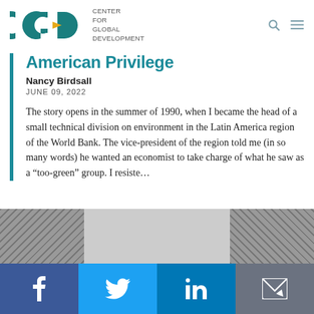Center for Global Development
American Privilege
Nancy Birdsall
JUNE 09, 2022
The story opens in the summer of 1990, when I became the head of a small technical division on environment in the Latin America region of the World Bank. The vice-president of the region told me (in so many words) he wanted an economist to take charge of what he saw as a “too-green” group. I resiste…
[Figure (photo): Black and white photograph of urban buildings, cropped at bottom of page]
Social sharing bar: Facebook, Twitter, LinkedIn, Email